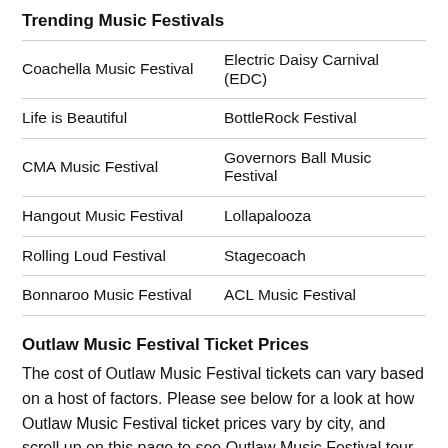Trending Music Festivals
| Coachella Music Festival | Electric Daisy Carnival (EDC) |
| Life is Beautiful | BottleRock Festival |
| CMA Music Festival | Governors Ball Music Festival |
| Hangout Music Festival | Lollapalooza |
| Rolling Loud Festival | Stagecoach |
| Bonnaroo Music Festival | ACL Music Festival |
Outlaw Music Festival Ticket Prices
The cost of Outlaw Music Festival tickets can vary based on a host of factors. Please see below for a look at how Outlaw Music Festival ticket prices vary by city, and scroll up on this page to see Outlaw Music Festival tour dates and ticket prices for